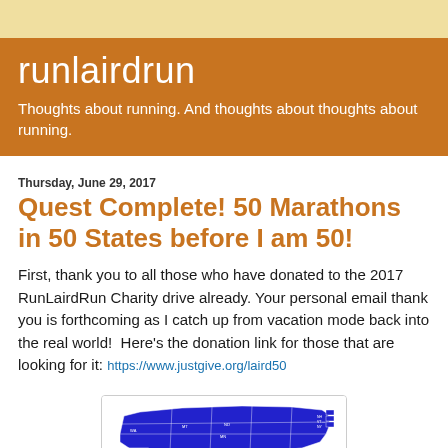runlairdrun — Thoughts about running. And thoughts about thoughts about running.
Thursday, June 29, 2017
Quest Complete! 50 Marathons in 50 States before I am 50!
First, thank you to all those who have donated to the 2017 RunLairdRun Charity drive already. Your personal email thank you is forthcoming as I catch up from vacation mode back into the real world!  Here's the donation link for those that are looking for it: https://www.justgive.org/laird50
[Figure (map): Map of the United States with all 50 states filled in blue, indicating completion of marathons in all 50 states.]